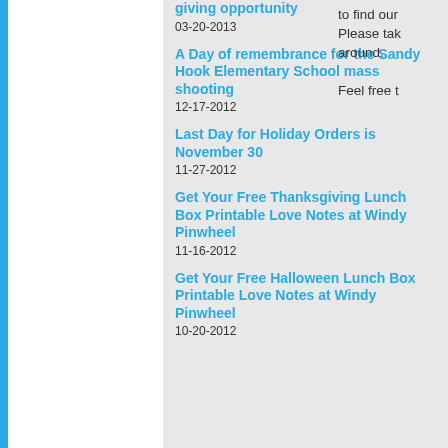giving opportunity
03-20-2013
A Day of remembrance for the Sandy Hook Elementary School mass shooting
12-17-2012
Last Day for Holiday Orders is November 30
11-27-2012
Get Your Free Thanksgiving Lunch Box Printable Love Notes at Windy Pinwheel
11-16-2012
Get Your Free Halloween Lunch Box Printable Love Notes at Windy Pinwheel
10-20-2012
to find our Please take around.

Feel free t